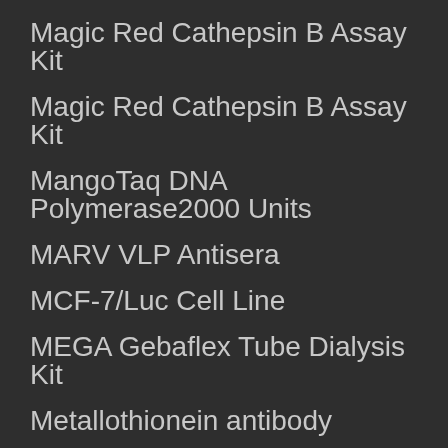Magic Red Cathepsin B Assay Kit
Magic Red Cathepsin B Assay Kit
MangoTaq DNA Polymerase2000 Units
MARV VLP Antisera
MCF-7/Luc Cell Line
MEGA Gebaflex Tube Dialysis Kit
Metallothionein antibody
MG-132, 100mg
MGAT5 sgRNA CRISPR/Cas9 all-in-one
mGP73 Elisa Kit
Michel's Transport Wash Buffer 500ml
MicorMount Small Aperture